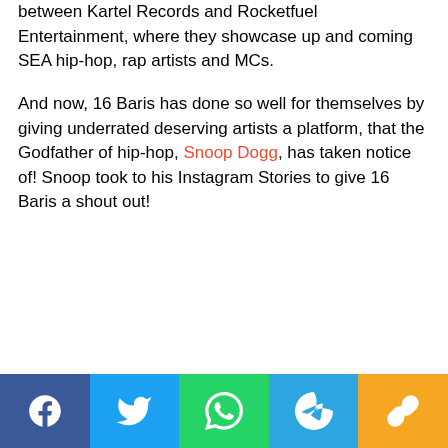between Kartel Records and Rocketfuel Entertainment, where they showcase up and coming SEA hip-hop, rap artists and MCs.
And now, 16 Baris has done so well for themselves by giving underrated deserving artists a platform, that the Godfather of hip-hop, Snoop Dogg, has taken notice of! Snoop took to his Instagram Stories to give 16 Baris a shout out!